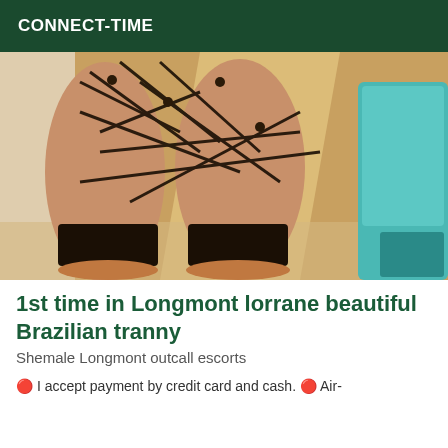CONNECT-TIME
[Figure (photo): Close-up photo of a person kneeling on a carpeted floor wearing black strappy lingerie/garter straps on their thighs and legs, with a teal/cyan chair visible in the background right side.]
1st time in Longmont lorrane beautiful Brazilian tranny
Shemale Longmont outcall escorts
🔴 I accept payment by credit card and cash. 🔴 Air-